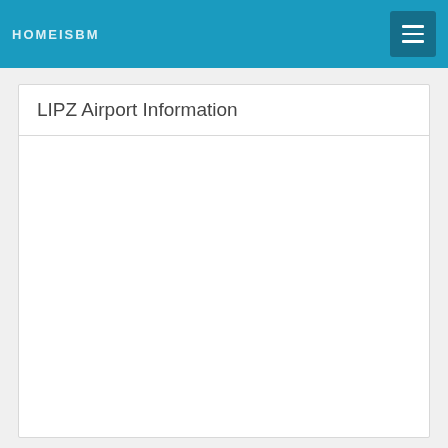HOMEISBM
LIPZ Airport Information